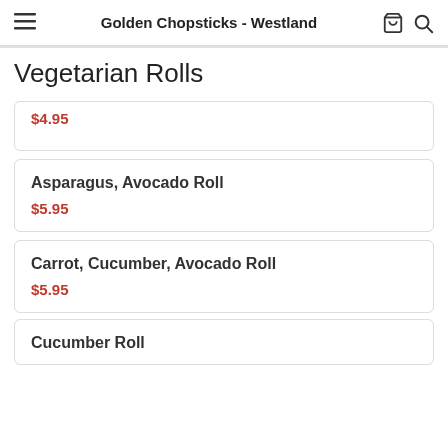Golden Chopsticks - Westland
Vegetarian Rolls
$4.95
Asparagus, Avocado Roll — $5.95
Carrot, Cucumber, Avocado Roll — $5.95
Cucumber Roll (partial)